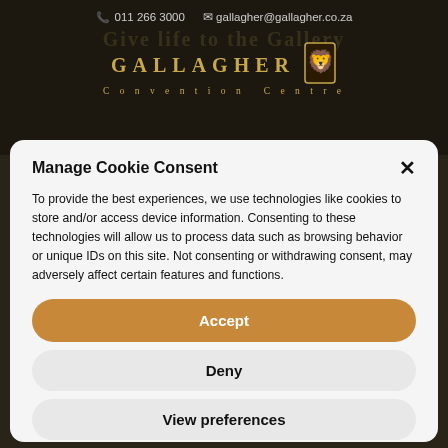011 266 3000  gallagher@gallagher.co.za
[Figure (logo): Gallagher Convention Centre logo with golden text and lion crest]
Manage Cookie Consent
To provide the best experiences, we use technologies like cookies to store and/or access device information. Consenting to these technologies will allow us to process data such as browsing behavior or unique IDs on this site. Not consenting or withdrawing consent, may adversely affect certain features and functions.
Accept
Deny
View preferences
Cookie Policy  Privacy Statement